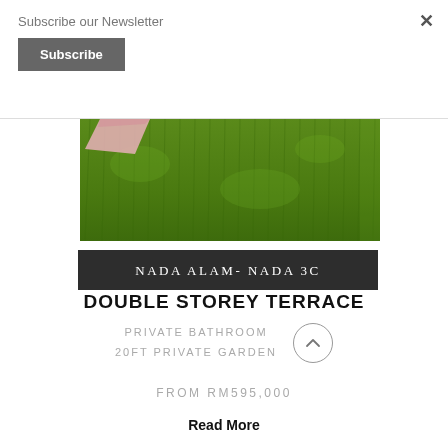Subscribe our Newsletter
Subscribe
[Figure (photo): Grass/lawn background photo with a pink object visible in upper left corner]
NADA ALAM- NADA 3C
DOUBLE STOREY TERRACE
PRIVATE BATHROOM
20FT PRIVATE GARDEN
FROM RM595,000
Read More